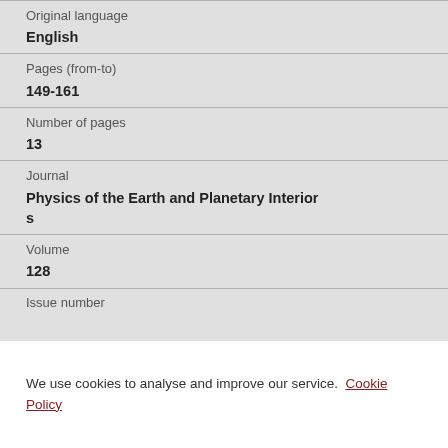Original language
English
Pages (from-to)
149-161
Number of pages
13
Journal
Physics of the Earth and Planetary Interiors
Volume
128
Issue number
We use cookies to analyse and improve our service. Cookie Policy